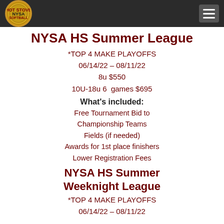NYSA Hot Stove Softball Logo / Navigation
NYSA HS Summer League
*TOP 4 MAKE PLAYOFFS
06/14/22 – 08/11/22
8u $550
10U-18u 6 games $695
What's included:
Free Tournament Bid to Championship Teams
Fields (if needed)
Awards for 1st place finishers
Lower Registration Fees
NYSA HS Summer Weeknight League
*TOP 4 MAKE PLAYOFFS
06/14/22 – 08/11/22